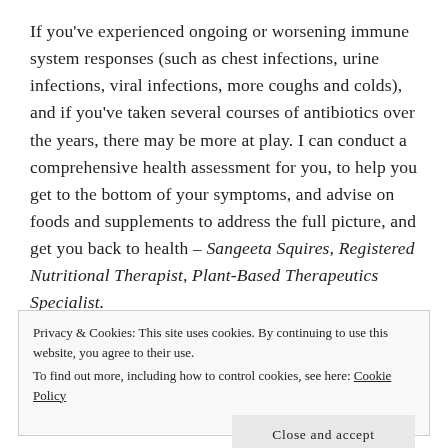If you've experienced ongoing or worsening immune system responses (such as chest infections, urine infections, viral infections, more coughs and colds), and if you've taken several courses of antibiotics over the years, there may be more at play. I can conduct a comprehensive health assessment for you, to help you get to the bottom of your symptoms, and advise on foods and supplements to address the full picture, and get you back to health – Sangeeta Squires, Registered Nutritional Therapist, Plant-Based Therapeutics Specialist.
Privacy & Cookies: This site uses cookies. By continuing to use this website, you agree to their use.
To find out more, including how to control cookies, see here: Cookie Policy